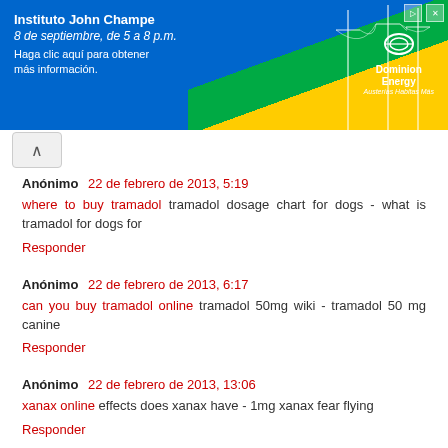[Figure (photo): Advertisement banner for Instituto John Champe event on September 8, 5 to 8 pm, featuring Dominion Energy branding with blue background, green and yellow diagonal stripes, and power line graphics.]
Anónimo 22 de febrero de 2013, 5:19
where to buy tramadol tramadol dosage chart for dogs - what is tramadol for dogs for
Responder
Anónimo 22 de febrero de 2013, 6:17
can you buy tramadol online tramadol 50mg wiki - tramadol 50 mg canine
Responder
Anónimo 22 de febrero de 2013, 13:06
xanax online effects does xanax have - 1mg xanax fear flying
Responder